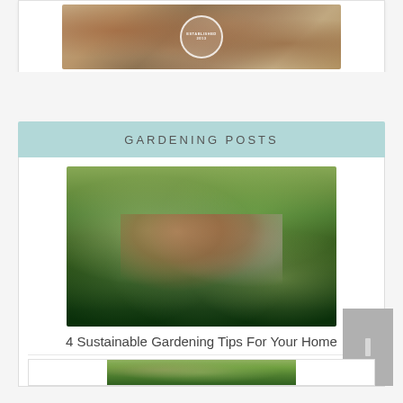[Figure (photo): Top banner image showing autumn leaves with a circular badge/seal overlay in the center]
GARDENING POSTS
[Figure (photo): Photo of a father and two children gardening together in a vegetable garden with lush green plants]
4 Sustainable Gardening Tips For Your Home
[Figure (photo): Partial view of another gardening photo at the bottom of the page]